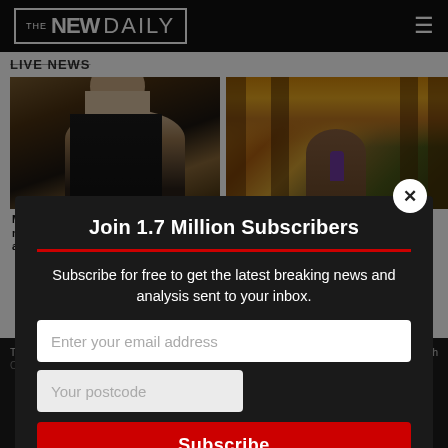THE NEW DAILY
LIVE NEWS
[Figure (photo): Photo of Michael Pascoe, a man in dark suit speaking at a podium]
Michael Pascoe: The Governor-General may have some questions to answer about this charity
[Figure (photo): Photo of autumn forest path with child in kimono walking away]
Get your passports ready: Japan eases travel restrictions
Join 1.7 Million Subscribers
Subscribe for free to get the latest breaking news and analysis sent to your inbox.
Enter your email address
Your postcode
Subscribe
The 'Serena show' steals a momentous US Open send-off for Aussie Ajla Tomljanovic
ver Californian e truck crash